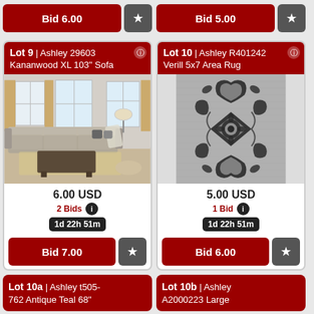Bid 6.00
Bid 5.00
Lot 9 | Ashley 29603 Kananwood XL 103" Sofa
[Figure (photo): Living room scene with large sectional sofa in gray, coffee table, lamps, and rug]
6.00 USD
2 Bids
1d 22h 51m
Bid 7.00
Lot 10 | Ashley R401242 Verill 5x7 Area Rug
[Figure (photo): Gray area rug with dark ornate floral medallion pattern]
5.00 USD
1 Bid
1d 22h 51m
Bid 6.00
Lot 10a | Ashley t505-762 Antique Teal 68"
Lot 10b | Ashley A2000223 Large